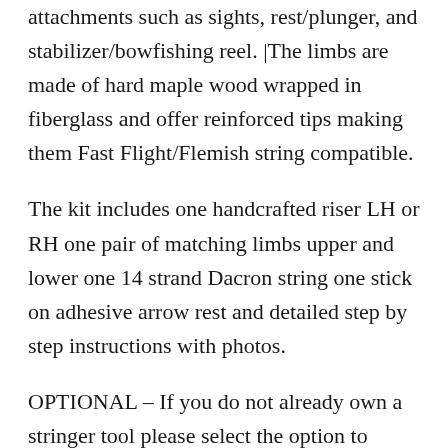attachments such as sights, rest/plunger, and stabilizer/bowfishing reel. |The limbs are made of hard maple wood wrapped in fiberglass and offer reinforced tips making them Fast Flight/Flemish string compatible.
The kit includes one handcrafted riser LH or RH one pair of matching limbs upper and lower one 14 strand Dacron string one stick on adhesive arrow rest and detailed step by step instructions with photos.
OPTIONAL – If you do not already own a stringer tool please select the option to